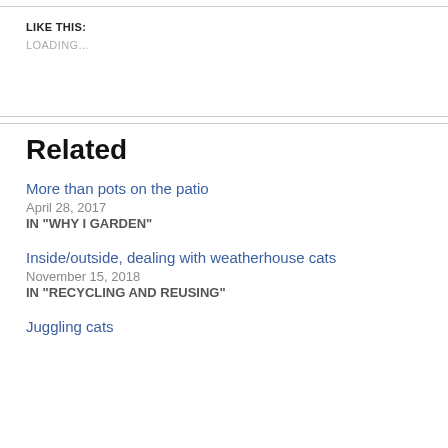LIKE THIS:
LOADING...
Related
More than pots on the patio
April 28, 2017
IN "WHY I GARDEN"
Inside/outside, dealing with weatherhouse cats
November 15, 2018
IN "RECYCLING AND REUSING"
Juggling cats